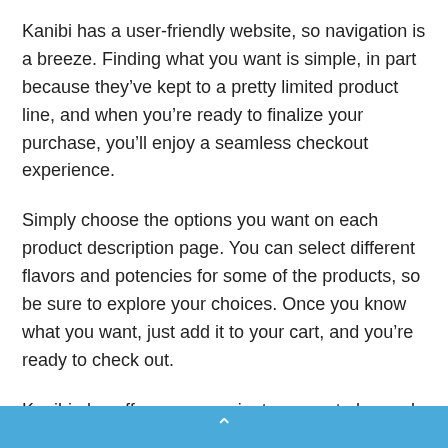Kanibi has a user-friendly website, so navigation is a breeze. Finding what you want is simple, in part because they've kept to a pretty limited product line, and when you're ready to finalize your purchase, you'll enjoy a seamless checkout experience.
Simply choose the options you want on each product description page. You can select different flavors and potencies for some of the products, so be sure to explore your choices. Once you know what you want, just add it to your cart, and you're ready to check out.
Kanibi also offers a convenient payment plan and a “subscribe and save” program. Let’s look at the details
⌃